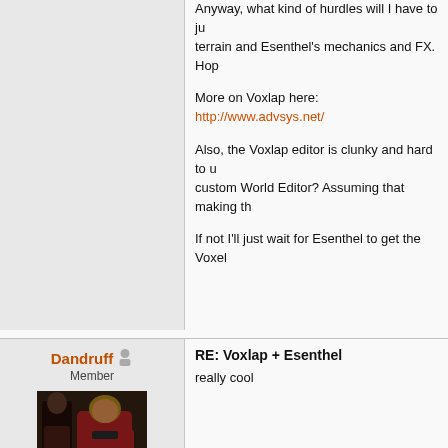Anyway, what kind of hurdles will I have to jump to combine Voxlap terrain and Esenthel's mechanics and FX. Hop...
More on Voxlap here: http://www.advsys.net/
Also, the Voxlap editor is clunky and hard to use, custom World Editor? Assuming that making th...
If not I'll just wait for Esenthel to get the Voxel...
02-21-2011 04:16 AM
Find
Dandruff
Member
RE: Voxlap + Esenthel
really cool
[Figure (photo): User avatar showing two figures in red/dark uniforms, resembling a sci-fi TV show scene]
02-21-2011 08:29 AM
Find
Chris
Member
RE: Voxlap + Esenthel
I've got experience with working with voxels i and look at PolyVox (just a lib), it's far more up terrain) and marching cubes (smooth voxel te independent, and the latest SVN has decent c code for texturing voxels from 3-axis projecti Heh, now I sound like a salesman, but it's just a